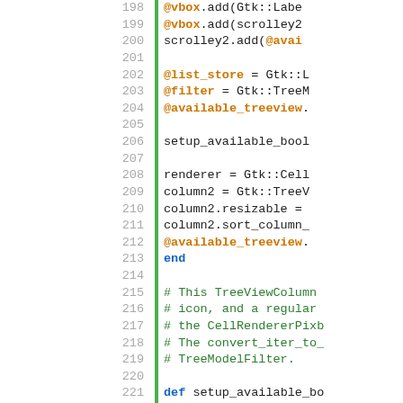[Figure (screenshot): Source code editor showing Ruby code lines 198-223 with line numbers, a green vertical bar, and syntax highlighting in orange, green, blue, and black.]